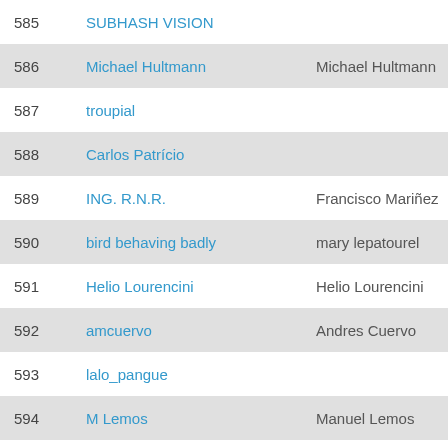| # | Username | Owner |
| --- | --- | --- |
| 585 | SUBHASH VISION |  |
| 586 | Michael Hultmann | Michael Hultmann |
| 587 | troupial |  |
| 588 | Carlos Patrício |  |
| 589 | ING. R.N.R. | Francisco Mariñez |
| 590 | bird behaving badly | mary lepatourel |
| 591 | Helio Lourencini | Helio Lourencini |
| 592 | amcuervo | Andres Cuervo |
| 593 | lalo_pangue |  |
| 594 | M Lemos | Manuel Lemos |